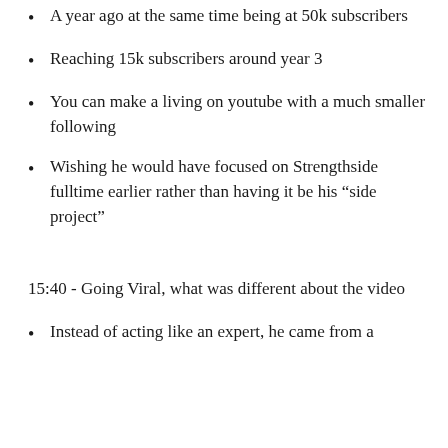A year ago at the same time being at 50k subscribers
Reaching 15k subscribers around year 3
You can make a living on youtube with a much smaller following
Wishing he would have focused on Strengthside fulltime earlier rather than having it be his “side project”
15:40 - Going Viral, what was different about the video
Instead of acting like an expert, he came from a